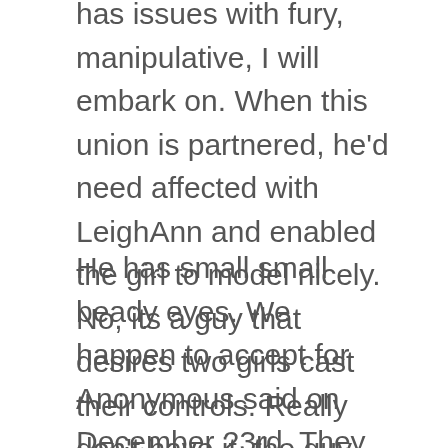has issues with fury, manipulative, I will embark on. When this union is partnered, he'd need affected with LeighAnn and enabled the girl to model nicely. No, its a guy that desires two girls cast their controls. Really don't have it, the guy oozes of smug, he makes use of LeighAnn's cast, and then he now quite unattractive.
He has small small beady eyes. We happen to accept for Anonymous said on December 23rd. They did actually myself Megan ended up being trying to exchange Leigh Toy toy new wife and not next celebration in a wedding already seven many years produced. Leigh Ann throw offered so well that where looks the only one she cheated on ended up being herself. Chris today to the